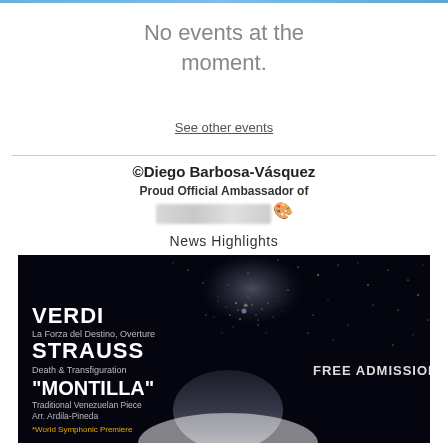No events at the moment.
See other events
©Diego Barbosa-Vásquez
Proud Official Ambassador of
News Highlights
[Figure (photo): Concert program promotional image on black background with galaxy/stars. Shows: VERDI - La Forza del Destino, Overture; STRAUSS - Death & Transfiguration; 'MONTILLA' - Traditional Venezuelan Piece, Arr. Ardila-Pineda, *World Symphonic Premiere. FREE ADMISSION text on right side.]